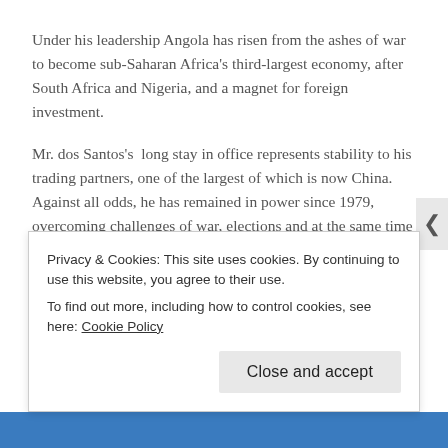Under his leadership Angola has risen from the ashes of war to become sub-Saharan Africa's third-largest economy, after South Africa and Nigeria, and a magnet for foreign investment.
Mr. dos Santos's  long stay in office represents stability to his trading partners, one of the largest of which is now China. Against all odds, he has remained in power since 1979, overcoming challenges of war, elections and at the same time displaying a highly refined political craftsmanship. Analysts say Mr dos Santos' avoidance of the limelight is key to his success because he has been able to keep his enemies guessing and he has carefully kept internal rivals at bay. While criticism of Mr. dos Santos is growing among small sections of urban Angolans, who are increasingly turning to the internet and social
Privacy & Cookies: This site uses cookies. By continuing to use this website, you agree to their use.
To find out more, including how to control cookies, see here: Cookie Policy
Close and accept